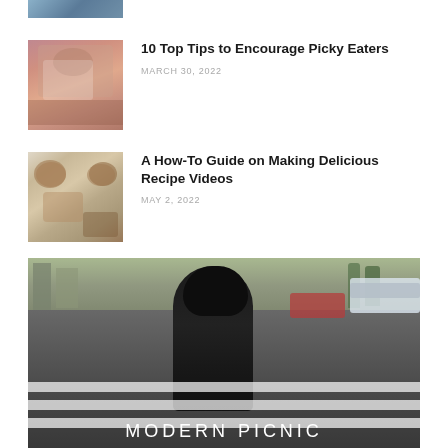[Figure (photo): Partial thumbnail image at top of page, cropped]
10 Top Tips to Encourage Picky Eaters
MARCH 30, 2022
[Figure (photo): Thumbnail of person with glasses and tongue out]
A How-To Guide on Making Delicious Recipe Videos
MAY 2, 2022
[Figure (photo): Thumbnail of food dishes from overhead]
[Figure (photo): Large photo of woman in black dress crossing a street with MODERN PICNIC text overlay]
MODERN PICNIC